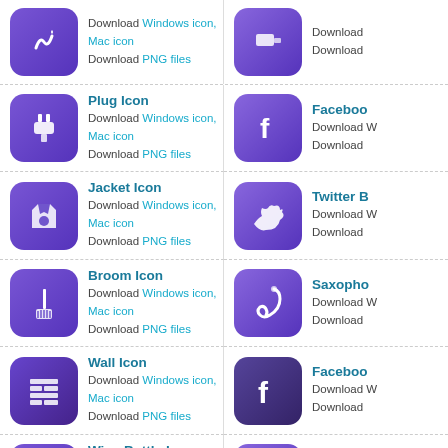Download Windows icon, Mac icon
Download PNG files
Download Windows icon, Mac icon
Download
Plug Icon
Download Windows icon, Mac icon
Download PNG files
Facebook
Download Windows icon, Mac icon
Download
Jacket Icon
Download Windows icon, Mac icon
Download PNG files
Twitter B
Download Windows icon, Mac icon
Download
Broom Icon
Download Windows icon, Mac icon
Download PNG files
Saxopho
Download Windows icon, Mac icon
Download
Wall Icon
Download Windows icon, Mac icon
Download PNG files
Facebook
Download Windows icon, Mac icon
Download
Wine Bottle Icon
Download Windows icon, Mac icon
Download PNG files
Bow Icon
Download Windows icon, Mac icon
Download
Ghost Icon
Download Windows icon, Mac icon
Download PNG files
Postage
Download Windows icon, Mac icon
Download